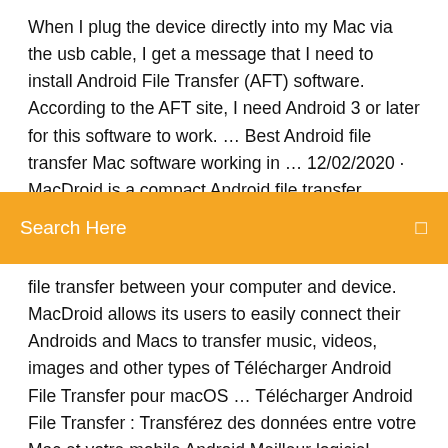When I plug the device directly into my Mac via the usb cable, I get a message that I need to install Android File Transfer (AFT) software. According to the AFT site, I need Android 3 or later for this software to work. … Best Android file transfer Mac software working in … 12/02/2020 · MacDroid is a compact Android file transfer application that works great on OS X Yosemite and
[Figure (screenshot): Orange/amber search bar with white text 'Search Here' and a small search icon on the right]
file transfer between your computer and device. MacDroid allows its users to easily connect their Androids and Macs to transfer music, videos, images and other types of Télécharger Android File Transfer pour macOS ... Télécharger Android File Transfer : Transférez des données entre votre Mac et votre mobile Android Meilleur logiciel transfert fichier Android pour Mac OSX 18/12/2019 · Cette petite application permet le transfert de données sur LAN et est disponible pour les systèmes Windows, Mac OS X, Android et Symbian. Il est plutôt